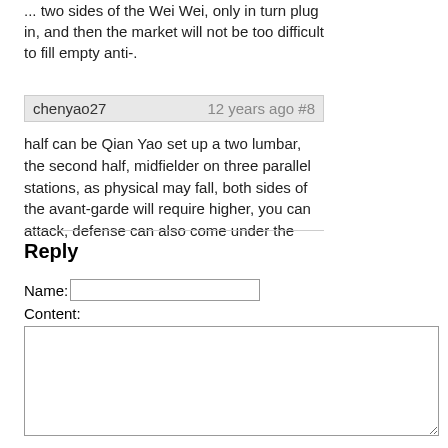... two sides of the Wei Wei, only in turn plug in, and then the market will not be too difficult to fill empty anti-.
chenyao27   12 years ago #8
half can be Qian Yao set up a two lumbar, the second half, midfielder on three parallel stations, as physical may fall, both sides of the avant-garde will require higher, you can attack, defense can also come under the
Reply
Name:
Content:
Reply